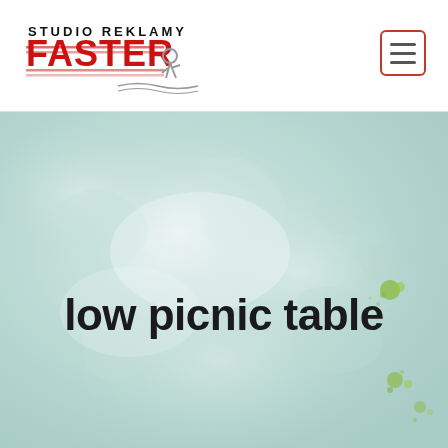[Figure (logo): Studio Reklamy FASTER logo with red stylized text and running figure]
[Figure (other): Hamburger/menu button icon — three horizontal lines inside a red-bordered rounded rectangle]
[Figure (illustration): Watercolor-style light teal/blue and white abstract background with green paint splatters]
low picnic table